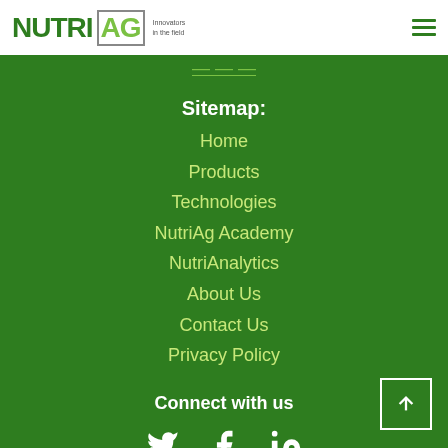NutriAg — Innovators in the field
Sitemap:
Home
Products
Technologies
NutriAg Academy
NutriAnalytics
About Us
Contact Us
Privacy Policy
Connect with us
[Figure (infographic): Social media icons: Twitter (bird), Facebook (f), LinkedIn (in)]